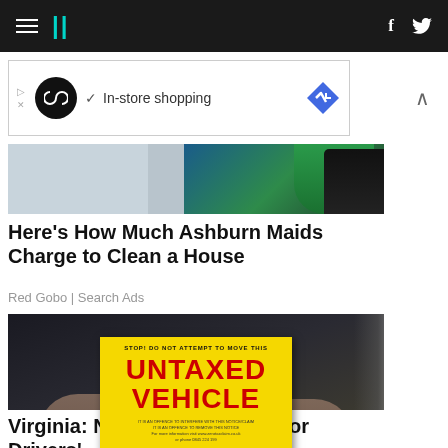HuffPost navigation bar with hamburger menu, logo, Facebook and Twitter icons
[Figure (screenshot): Advertisement banner: circular logo with infinity symbol, checkmark, 'In-store shopping' text, blue diamond navigation icon]
[Figure (photo): Partial photo of person (maid/cleaner) in teal top]
Here's How Much Ashburn Maids Charge to Clean a House
Red Gobo | Search Ads
[Figure (photo): Person holding yellow sign out of car window reading 'STOP! DO NOT ATTEMPT TO MOVE THIS UNTAXED VEHICLE']
Virginia: New Policy For 'Senior Drivers'